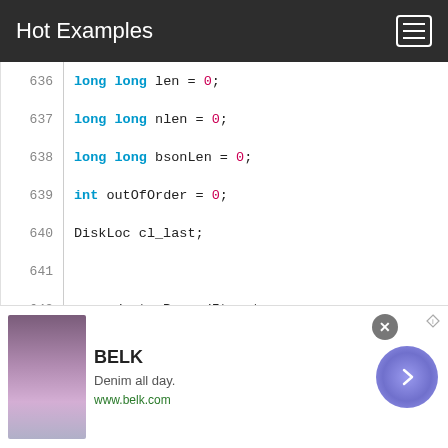Hot Examples
[Figure (screenshot): Code viewer showing C++ code lines 636-651 with syntax highlighting. Line numbers on left, code on right with blue keywords (long, int, while, if), red literals (0, 1000000), and black identifiers.]
[Figure (infographic): Advertisement banner for BELK: 'Denim all day. www.belk.com' with photo placeholder and navigation arrow button.]